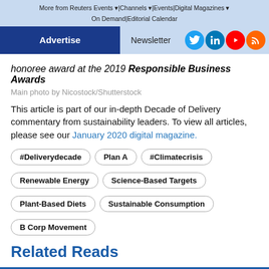More from Reuters Events | Channels | Events | Digital Magazines | On Demand | Editorial Calendar
Advertise | Newsletter
honoree award at the 2019 Responsible Business Awards
Main photo by Nicostock/Shutterstock
This article is part of our in-depth Decade of Delivery commentary from sustainability leaders. To view all articles, please see our January 2020 digital magazine.
#Deliverydecade
Plan A
#Climatecrisis
Renewable Energy
Science-Based Targets
Plant-Based Diets
Sustainable Consumption
B Corp Movement
Related Reads